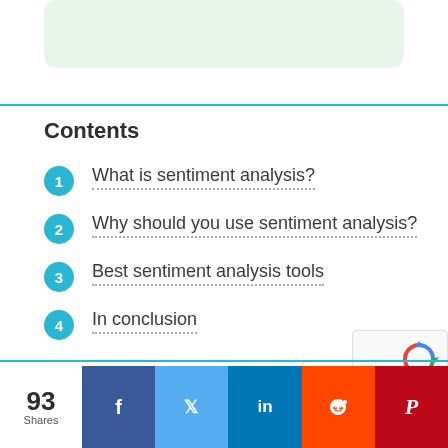[Figure (other): Light green rounded rectangle box at top of page]
Contents
1. What is sentiment analysis?
2. Why should you use sentiment analysis?
3. Best sentiment analysis tools
4. In conclusion
93 Shares  Facebook  Twitter  LinkedIn  Reddit  Pinterest